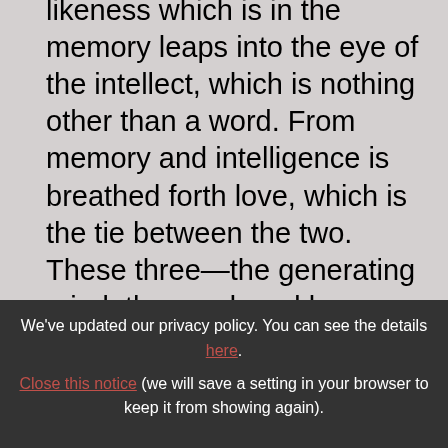likeness which is in the memory leaps into the eye of the intellect, which is nothing other than a word. From memory and intelligence is breathed forth love, which is the tie between the two. These three—the generating mind, the word, and love—are in the soul as memory, intelligence, and will, which are consubstantial, coequal, and coeval, mutually immanent. If then God is perfect spirit, He
We've updated our privacy policy. You can see the details here. Close this notice (we will save a setting in your browser to keep it from showing again).